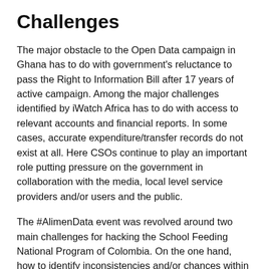Challenges
The major obstacle to the Open Data campaign in Ghana has to do with government's reluctance to pass the Right to Information Bill after 17 years of active campaign. Among the major challenges identified by iWatch Africa has to do with access to relevant accounts and financial reports. In some cases, accurate expenditure/transfer records do not exist at all. Here CSOs continue to play an important role putting pressure on the government in collaboration with the media, local level service providers and/or users and the public.
The #AlimenData event was revolved around two main challenges for hacking the School Feeding National Program of Colombia. On the one hand, how to identify inconsistencies and/or chances within this National Program in order to follow and optimize public funding? And, on the other hand, how to encourage interest of citizens, researchers and media for taking part in the